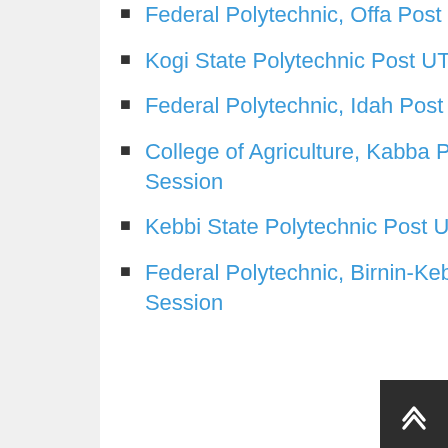Federal Polytechnic, Offa Post UTME Form For 2022/2023 Academic Session
Kogi State Polytechnic Post UTME Form For 2022/2023 Academic Session
Federal Polytechnic, Idah Post UTME Form For 2022/2023 Academic Session
College of Agriculture, Kabba Post UTME Form For 2022/2023 Academic Session
Kebbi State Polytechnic Post UTME Form For 2022/2023 Academic Session
Federal Polytechnic, Birnin-Kebbi Post UTME Form For 2022/2023 Academic Session